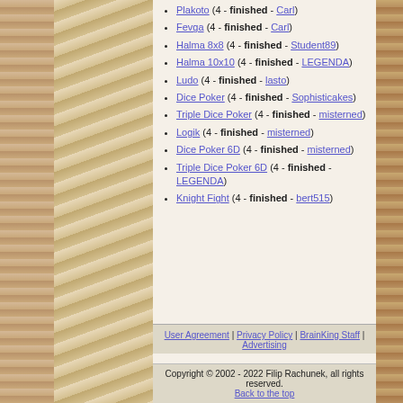Plakoto (4 - finished - Carl)
Fevga (4 - finished - Carl)
Halma 8x8 (4 - finished - Student89)
Halma 10x10 (4 - finished - LEGENDA)
Ludo (4 - finished - lasto)
Dice Poker (4 - finished - Sophisticakes)
Triple Dice Poker (4 - finished - misterned)
Logik (4 - finished - misterned)
Dice Poker 6D (4 - finished - misterned)
Triple Dice Poker 6D (4 - finished - LEGENDA)
Knight Fight (4 - finished - bert515)
User Agreement | Privacy Policy | BrainKing Staff | Advertising
Copyright © 2002 - 2022 Filip Rachunek, all rights reserved.
Back to the top